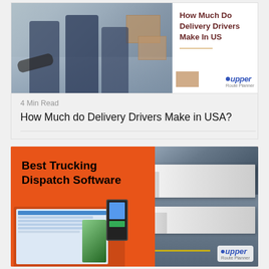[Figure (photo): Card with delivery drivers photo on left and title 'How Much Do Delivery Drivers Make In US' on right with Upper Route Planner logo]
4 Min Read
How Much do Delivery Drivers Make in USA?
[Figure (photo): Orange card with 'Best Trucking Dispatch Software' text, laptop/phone mockup showing route planning software, and trucks aerial photo on right with Upper logo]